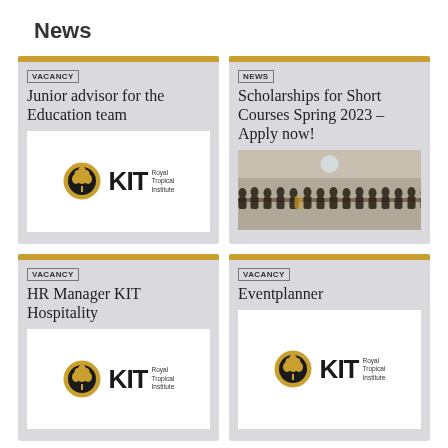News
VACANCY  Junior advisor for the Education team
[Figure (logo): KIT Royal Tropical Institute logo with tree emblem]
NEWS  Scholarships for Short Courses Spring 2023 – Apply now!
[Figure (photo): Group photo of people standing on a balcony or staircase inside a building]
VACANCY  HR Manager KIT Hospitality
[Figure (logo): KIT Royal Tropical Institute logo with tree emblem]
VACANCY  Eventplanner
[Figure (logo): KIT Royal Tropical Institute logo with tree emblem]